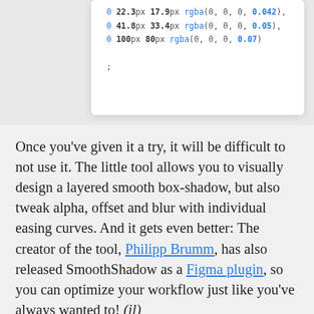[Figure (screenshot): A code snippet screenshot showing CSS box-shadow values with numeric parameters in blue and bold, ending with a semicolon.]
Once you've given it a try, it will be difficult to not use it. The little tool allows you to visually design a layered smooth box-shadow, but also tweak alpha, offset and blur with individual easing curves. And it gets even better: The creator of the tool, Philipp Brumm, has also released SmoothShadow as a Figma plugin, so you can optimize your workflow just like you've always wanted to! (il)